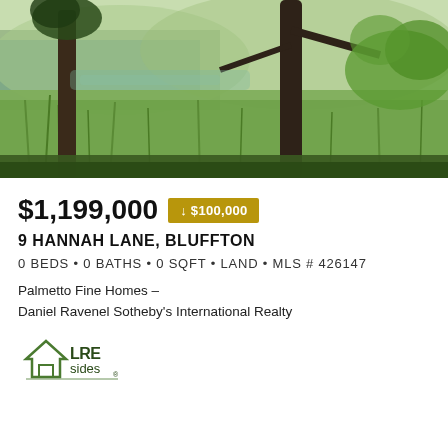[Figure (photo): Outdoor nature photo showing a marshy wetland with green grasses, trees with Spanish moss, palm fronds, and a body of water visible in the background.]
$1,199,000 ↓ $100,000
9 HANNAH LANE, BLUFFTON
0 BEDS • 0 BATHS • 0 SQFT • LAND • MLS # 426147
Palmetto Fine Homes -
Daniel Ravenel Sotheby's International Realty
[Figure (logo): LREsides logo — a green house icon with 'LRE' and 'sides' text in dark green]